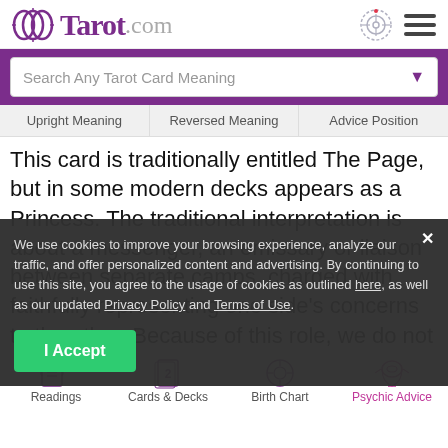Tarot.com
Search Any Tarot Card Meaning
Upright Meaning   Reversed Meaning   Advice Position
This card is traditionally entitled The Page, but in some modern decks appears as a Princess. The traditional interpretation is about a messenger, an emissary or liaison between separate camps, charged with faithfully representing one side's concerns to the other. Because of this role, we do not think of this person as a servant, but rather a diplomat, facilitating sensitive
We use cookies to improve your browsing experience, analyze our traffic, and offer personalized content and advertising. By continuing to use this site, you agree to the usage of cookies as outlined here, as well as our updated Privacy Policy and Terms of Use.
I Accept
Readings   Cards & Decks   Birth Chart   Psychic Advice